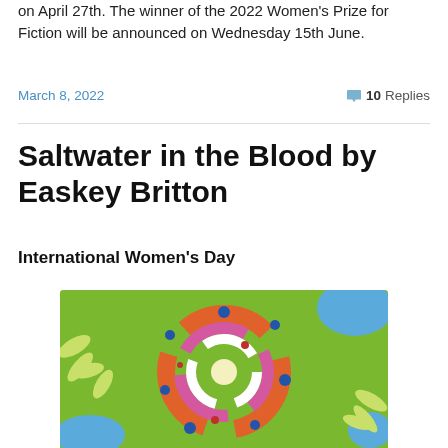on April 27th. The winner of the 2022 Women's Prize for Fiction will be announced on Wednesday 15th June.
March 8, 2022   💬 10 Replies
Saltwater in the Blood by Easkey Britton
International Women's Day
[Figure (illustration): Colorful circular swirl illustration on a green background with leaves, featuring abstract human figures in orange, blue, pink, and white spiral forms]